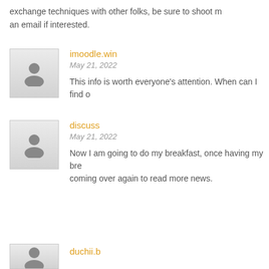exchange techniques with other folks, be sure to shoot me an email if interested.
imoodle.win
May 21, 2022
This info is worth everyone’s attention. When can I find o
discuss
May 21, 2022
Now I am going to do my breakfast, once having my bre coming over again to read more news.